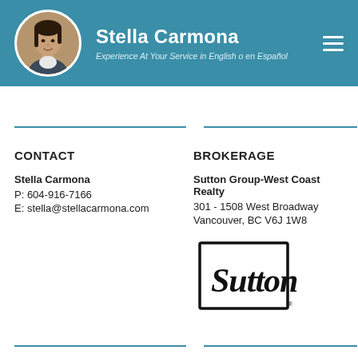Stella Carmona — Experience At Your Service in English o en Español
CONTACT
Stella Carmona
P: 604-916-7166
E: stella@stellacarmona.com
BROKERAGE
Sutton Group-West Coast Realty
301 - 1508 West Broadway
Vancouver, BC V6J 1W8
[Figure (logo): Sutton logo — stylized cursive 'Sutton' inside a square border with registered trademark symbol]